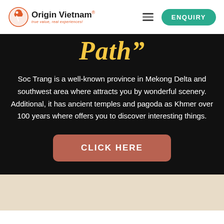Origin Vietnam® — true value, real experiences! | ENQUIRY
Path"
Soc Trang is a well-known province in Mekong Delta and southwest area where attracts you by wonderful scenery. Additional, it has ancient temples and pagoda as Khmer over 100 years where offers you to discover interesting things.
CLICK HERE